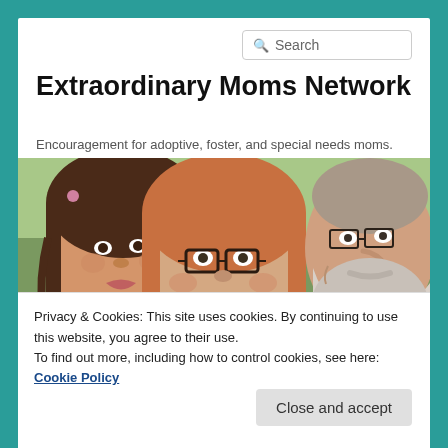Search
Extraordinary Moms Network
Encouragement for adoptive, foster, and special needs moms.
[Figure (photo): Selfie photo of three people: a teenage girl on the left making a duck face, a middle-aged woman in the center wearing glasses and smiling, and an older man on the right with a gray beard.]
Privacy & Cookies: This site uses cookies. By continuing to use this website, you agree to their use.
To find out more, including how to control cookies, see here: Cookie Policy
Close and accept